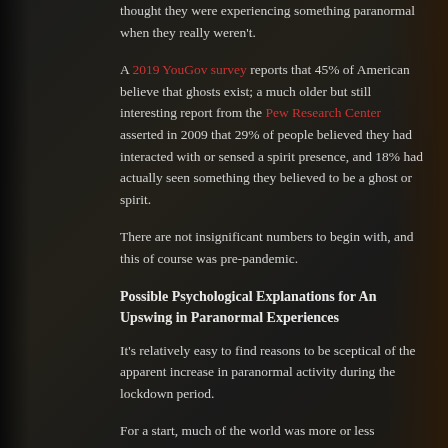thought they were experiencing something paranormal when they really weren't.
A 2019 YouGov survey reports that 45% of American believe that ghosts exist; a much older but still interesting report from the Pew Research Center asserted in 2009 that 29% of people believed they had interacted with or sensed a spirit presence, and 18% had actually seen something they believed to be a ghost or spirit.
There are not insignificant numbers to begin with, and this of course was pre-pandemic.
Possible Psychological Explanations for An Upswing in Paranormal Experiences
It's relatively easy to find reasons to be sceptical of the apparent increase in paranormal activity during the lockdown period.
For a start, much of the world was more or less confined to home. If you're normally in your home for only around